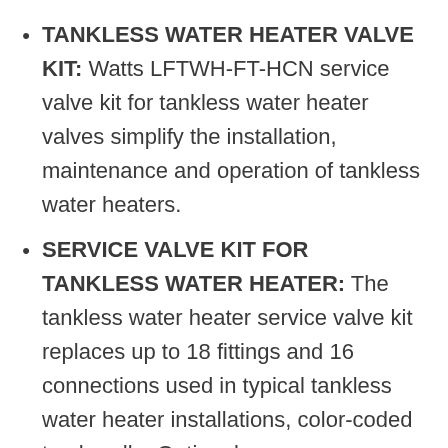TANKLESS WATER HEATER VALVE KIT: Watts LFTWH-FT-HCN service valve kit for tankless water heater valves simplify the installation, maintenance and operation of tankless water heaters.
SERVICE VALVE KIT FOR TANKLESS WATER HEATER: The tankless water heater service valve kit replaces up to 18 fittings and 16 connections used in typical tankless water heater installations, color-coded tee handle. Optional pressure